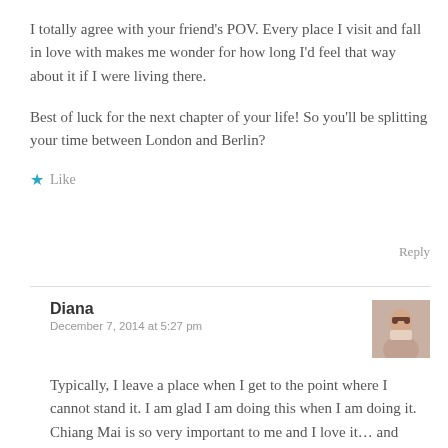I totally agree with your friend's POV. Every place I visit and fall in love with makes me wonder for how long I'd feel that way about it if I were living there.
Best of luck for the next chapter of your life! So you'll be splitting your time between London and Berlin?
Like
Reply
Diana
December 7, 2014 at 5:27 pm
Typically, I leave a place when I get to the point where I cannot stand it. I am glad I am doing this when I am doing it. Chiang Mai is so very important to me and I love it… and always want to. I will